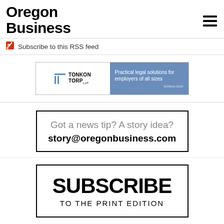Oregon Business
Subscribe to this RSS feed
[Figure (other): Tonkon Torp LLP advertisement banner: 'Practical legal solutions for employers of all sizes. tonkon.com']
[Figure (other): Got a news tip? A story idea? story@oregonbusiness.com]
[Figure (other): SUBSCRIBE TO THE PRINT EDITION]